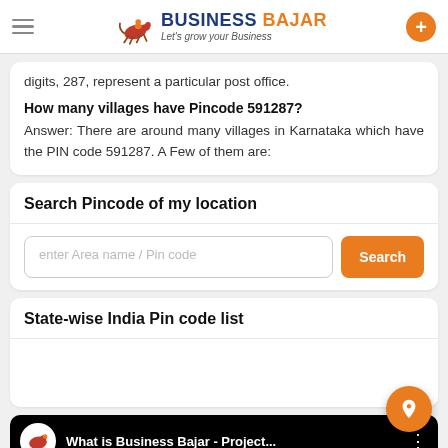Business Bajar – Let's grow your Business
digits, 287, represent a particular post office.
How many villages have Pincode 591287?
Answer: There are around many villages in Karnataka which have the PIN code 591287. A Few of them are:
Search Pincode of my location
enter Area name / Pin code
State-wise India Pin code list
What is Business Bajar - Project...